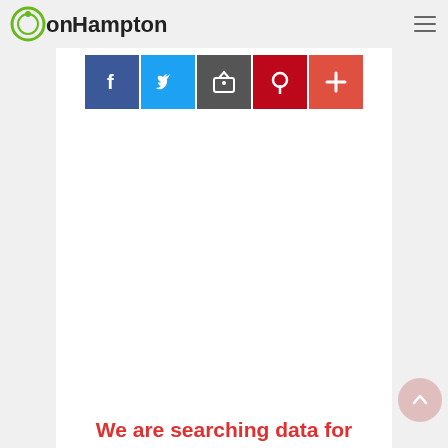onHampton
[Figure (screenshot): Social media share buttons row: Facebook (blue), Twitter (blue), a dark icon, Pinterest (red/pink), and a red plus/add button]
We are searching data for